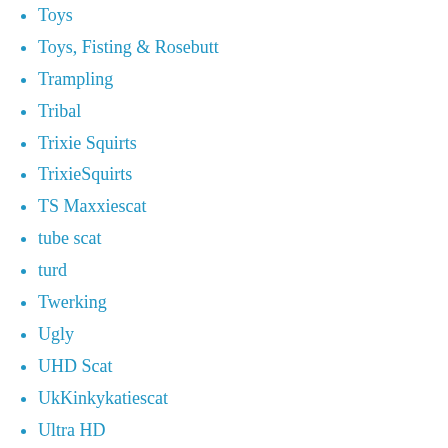Toys
Toys, Fisting & Rosebutt
Trampling
Tribal
Trixie Squirts
TrixieSquirts
TS Maxxiescat
tube scat
turd
Twerking
Ugly
UHD Scat
UkKinkykatiescat
Ultra HD
Ultra HD 4k
UltraHD